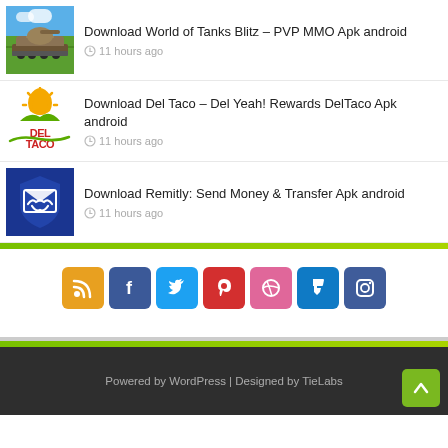Download World of Tanks Blitz – PVP MMO Apk android
11 hours ago
Download Del Taco – Del Yeah! Rewards DelTaco Apk android
11 hours ago
Download Remitly: Send Money & Transfer Apk android
11 hours ago
[Figure (infographic): Social media icon buttons: RSS (orange), Facebook (blue), Twitter (light blue), Pinterest (red), Dribbble (pink), Foursquare (teal/blue), Instagram (dark blue)]
Powered by WordPress | Designed by TieLabs